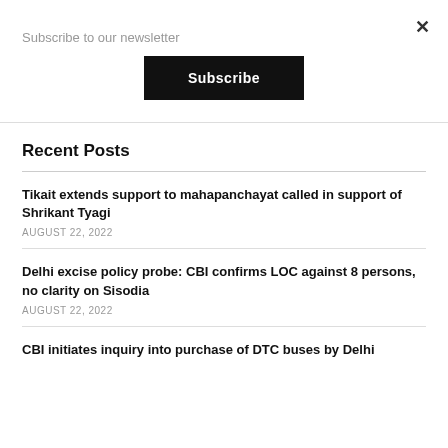Subscribe to our newsletter
Subscribe
Recent Posts
Tikait extends support to mahapanchayat called in support of Shrikant Tyagi
AUGUST 22, 2022
Delhi excise policy probe: CBI confirms LOC against 8 persons, no clarity on Sisodia
AUGUST 22, 2022
CBI initiates inquiry into purchase of DTC buses by Delhi